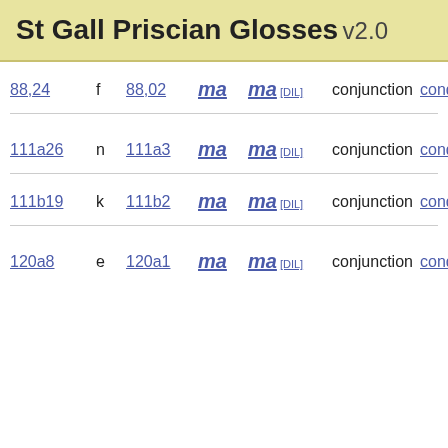St Gall Priscian Glosses v2.0
| ref | letter | num | gloss1 | gloss2 | pos | type |
| --- | --- | --- | --- | --- | --- | --- |
| 88,24 | f | 88,02 | ma | ma [DIL] | conjunction | conditional |
| 111a26 | n | 111a3 | ma | ma [DIL] | conjunction | conditional |
| 111b19 | k | 111b2 | ma | ma [DIL] | conjunction | conditional |
| 120a8 | e | 120a1 | ma | ma [DIL] | conjunction | conditional |